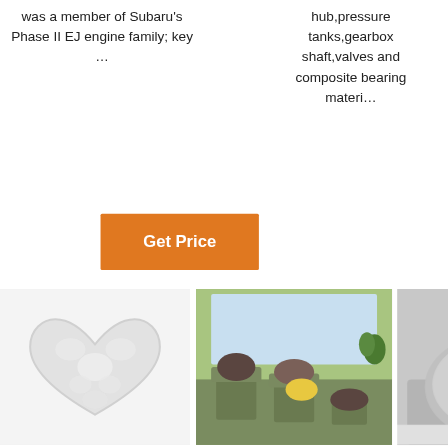was a member of Subaru's Phase II EJ engine family; key …
[Figure (other): Orange 'Get Price' button]
hub,pressure tanks,gearbox shaft,valves and composite bearing materi…
[Figure (other): 24/7 Online chat widget with female agent wearing headset, 'Click here for free chat!' text and QUOTATION button]
[Figure (other): Orange partially visible 'G' button]
[Figure (photo): White fluffy heart-shaped pillow/cushion]
[Figure (photo): Furry cushions/pillows on chairs in outdoor patio setting]
[Figure (photo): Grey fluffy round pillow on table]
[Figure (other): TOP badge with orange dots]
tipped pcbn inserts in 80 degree
Associate Members
tipped pcbn inserts in 80 degree